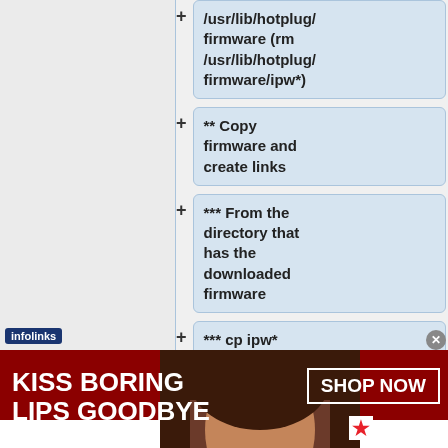+ /usr/lib/hotplug/ firmware (rm /usr/lib/hotplug/firmware/ipw*)
+ ** Copy firmware and create links
+ *** From the directory that has the downloaded firmware
+ *** cp ipw* /lib/firmware/.
+ *** ln -s
[Figure (screenshot): Macy's advertisement banner: 'KISS BORING LIPS GOODBYE' with SHOP NOW button and Macy's star logo, woman with red lipstick photo]
infolinks